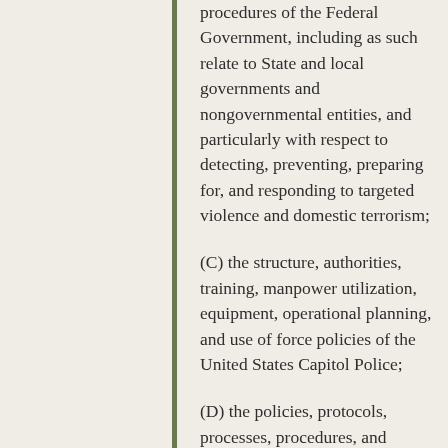procedures of the Federal Government, including as such relate to State and local governments and nongovernmental entities, and particularly with respect to detecting, preventing, preparing for, and responding to targeted violence and domestic terrorism;
(C) the structure, authorities, training, manpower utilization, equipment, operational planning, and use of force policies of the United States Capitol Police;
(D) the policies, protocols, processes, procedures, and systems for the sharing of intelligence and other information by Federal, State, and